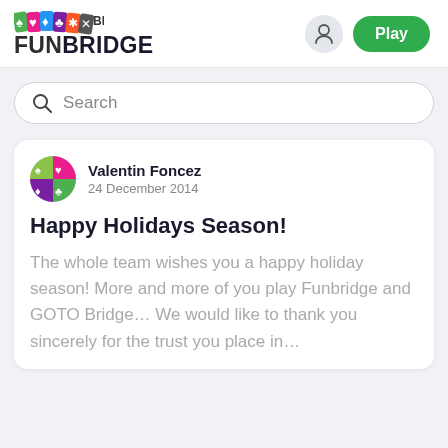BLOG FUNBRIDGE
Search
Valentin Foncez
24 December 2014
Happy Holidays Season!
The whole team wishes you a happy holiday season! More and more of you play Funbridge and GOTO Bridge… We would like to thank you sincerely for the trust you place in…